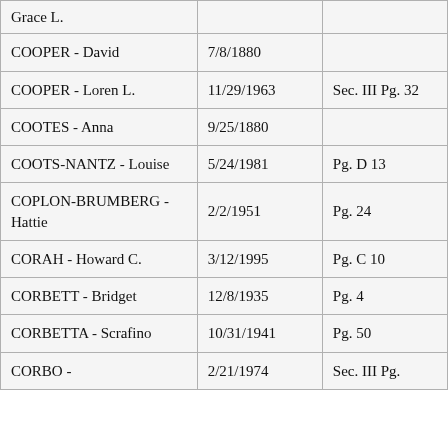| Name | Date | Reference |
| --- | --- | --- |
| Grace L. |  |  |
| COOPER - David | 7/8/1880 |  |
| COOPER - Loren L. | 11/29/1963 | Sec. III Pg. 32 |
| COOTES - Anna | 9/25/1880 |  |
| COOTS-NANTZ - Louise | 5/24/1981 | Pg. D 13 |
| COPLON-BRUMBERG - Hattie | 2/2/1951 | Pg. 24 |
| CORAH - Howard C. | 3/12/1995 | Pg. C 10 |
| CORBETT - Bridget | 12/8/1935 | Pg. 4 |
| CORBETTA - Scrafino | 10/31/1941 | Pg. 50 |
| CORBO - | 2/21/1974 | Sec. III Pg. |